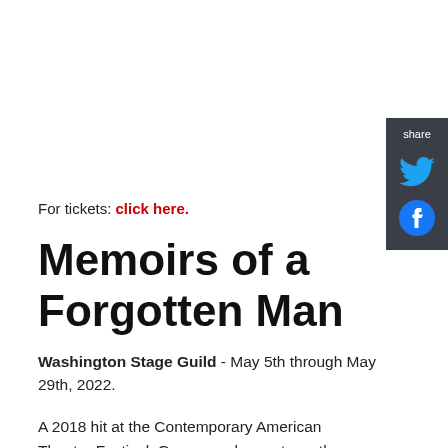[Figure (infographic): Share sidebar with Twitter and Facebook icons on dark grey background]
For tickets: click here.
Memoirs of a Forgotten Man
Washington Stage Guild - May 5th through May 29th, 2022.
A 2018 hit at the Contemporary American Theatre Festival, Gregorys play portrays the determination of